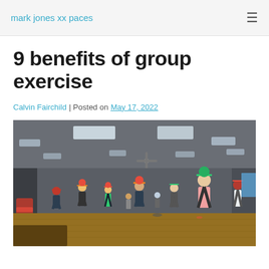mark jones xx paces
9 benefits of group exercise
Calvin Fairchild | Posted on May 17, 2022
[Figure (photo): Group exercise class in a gym studio with participants holding balls overhead, fluorescent lighting on ceiling, wooden floor, grey walls]